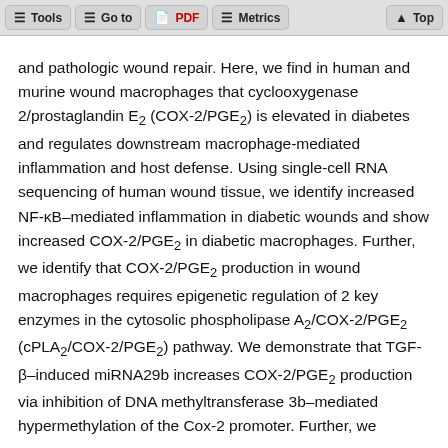Tools  Go to  PDF  Metrics  Top
and pathologic wound repair. Here, we find in human and murine wound macrophages that cyclooxygenase 2/prostaglandin E₂ (COX-2/PGE₂) is elevated in diabetes and regulates downstream macrophage-mediated inflammation and host defense. Using single-cell RNA sequencing of human wound tissue, we identify increased NF-κB–mediated inflammation in diabetic wounds and show increased COX-2/PGE₂ in diabetic macrophages. Further, we identify that COX-2/PGE₂ production in wound macrophages requires epigenetic regulation of 2 key enzymes in the cytosolic phospholipase A₂/COX-2/PGE₂ (cPLA₂/COX-2/PGE₂) pathway. We demonstrate that TGF-β–induced miRNA29b increases COX-2/PGE₂ production via inhibition of DNA methyltransferase 3b–mediated hypermethylation of the Cox-2 promoter. Further, we